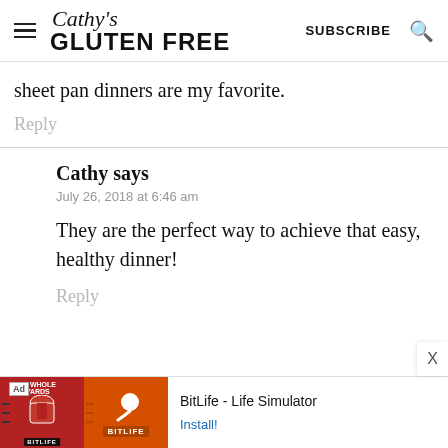Cathy's GLUTEN FREE — SUBSCRIBE
sheet pan dinners are my favorite.
Reply
Cathy says
July 26, 2018 at 6:46 am
They are the perfect way to achieve that easy, healthy dinner!
Reply
[Figure (infographic): Ad banner: BitLife - Life Simulator with Install button]